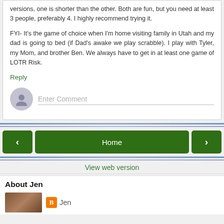versions, one is shorter than the other. Both are fun, but you need at least 3 people, preferably 4. I highly recommend trying it.
FYI- It's the game of choice when I'm home visiting family in Utah and my dad is going to bed (if Dad's awake we play scrabble). I play with Tyler, my Mom, and brother Ben. We always have to get in at least one game of LOTR Risk.
Reply
Enter Comment
[Figure (screenshot): Navigation bar with back arrow, Home button, and forward arrow — all green rounded buttons]
View web version
About Jen
[Figure (photo): Partial photo of a person and a Blogger icon next to the name Jen]